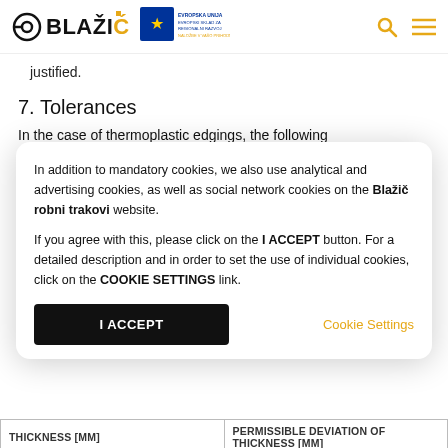BLAŽIČ [logo] [EU badge] [search icon] [menu icon]
justified.
7. Tolerances
In the case of thermoplastic edgings, the following
In addition to mandatory cookies, we also use analytical and advertising cookies, as well as social network cookies on the Blažič robni trakovi website.
If you agree with this, please click on the I ACCEPT button. For a detailed description and in order to set the use of individual cookies, click on the COOKIE SETTINGS link.
I ACCEPT | Cookie Settings
| Thickness [mm] | Permissible deviation of thickness [mm] |
| --- | --- |